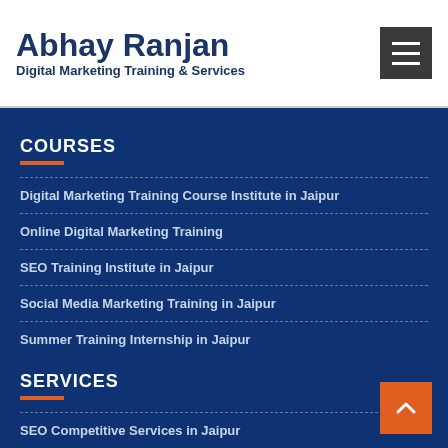Abhay Ranjan
Digital Marketing Training & Services
COURSES
Digital Marketing Training Course Institute in Jaipur
Online Digital Marketing Training
SEO Training Institute in Jaipur
Social Media Marketing Training in Jaipur
Summer Training Internship in Jaipur
SERVICES
SEO Competitive Services in Jaipur